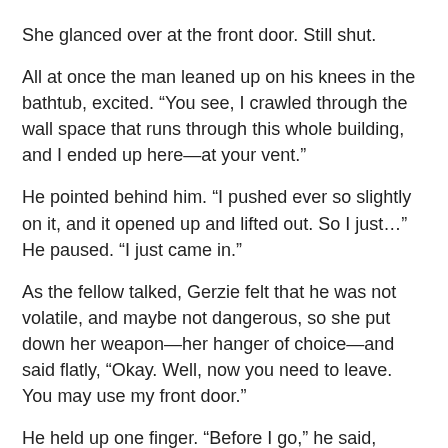She glanced over at the front door. Still shut.
All at once the man leaned up on his knees in the bathtub, excited. “You see, I crawled through the wall space that runs through this whole building, and I ended up here—at your vent.”
He pointed behind him. “I pushed ever so slightly on it, and it opened up and lifted out. So I just…” He paused. “I just came in.”
As the fellow talked, Gerzie felt that he was not volatile, and maybe not dangerous, so she put down her weapon—her hanger of choice—and said flatly, “Okay. Well, now you need to leave. You may use my front door.”
He held up one finger. “Before I go,” he said, “would you